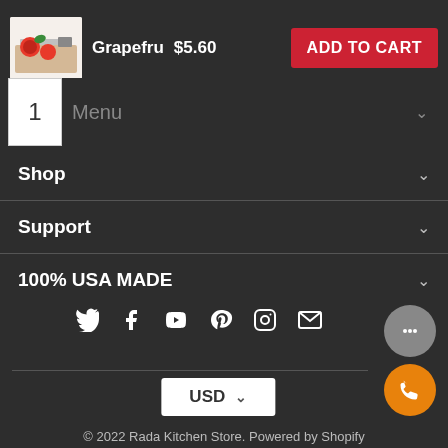[Figure (screenshot): E-commerce product page for Rada Kitchen Store showing a partial view of a grapefruit knife or similar product with price $5.60, Add to Cart button, navigation menu sections (Shop, Support, 100% USA MADE), social media icons, USD currency selector, and footer copyright.]
Grapefru  $5.60
ADD TO CART
1
Menu
Shop
Support
100% USA MADE
USD
© 2022 Rada Kitchen Store. Powered by Shopify